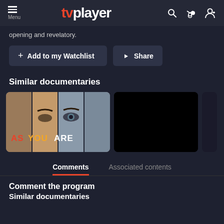Menu tvplayer
opening and revelatory.
+ Add to my Watchlist
Share
Similar documentaries
[Figure (screenshot): Thumbnail showing 'AS YOU ARE' documentary poster with close-up composite of faces]
[Figure (screenshot): Black thumbnail for a second similar documentary]
Comments
Associated contents
Comment the program
Similar documentaries